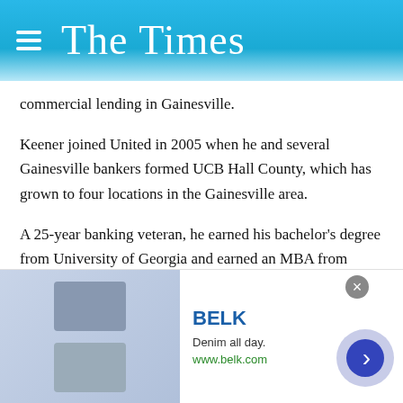The Times
commercial lending in Gainesville.
Keener joined United in 2005 when he and several Gainesville bankers formed UCB Hall County, which has grown to four locations in the Gainesville area.
A 25-year banking veteran, he earned his bachelor's degree from University of Georgia and earned an MBA from Georgia State University.
Keener, his wife, Caroline, and their son will continue to live in Gainesville. He will retain some commercial banking responsibilities at United in Hall County.
[Figure (advertisement): BELK advertisement: Denim all day. www.belk.com with fashion imagery and arrow button]